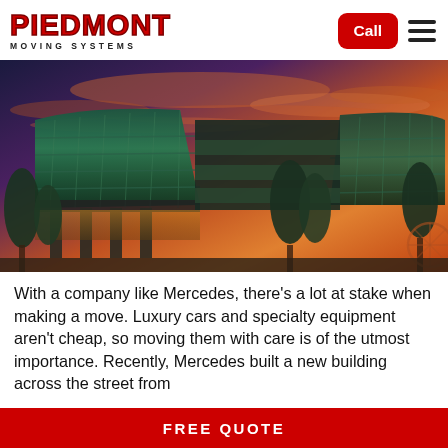[Figure (logo): Piedmont Moving Systems logo — red bold text 'PIEDMONT' above 'MOVING SYSTEMS' in black uppercase letters]
[Figure (photo): Modern glass-facade office building photographed at sunset with dramatic orange and purple sky; trees visible in foreground, a Ferris wheel visible in background right]
With a company like Mercedes, there's a lot at stake when making a move. Luxury cars and specialty equipment aren't cheap, so moving them with care is of the utmost importance. Recently, Mercedes built a new building across the street from
FREE QUOTE